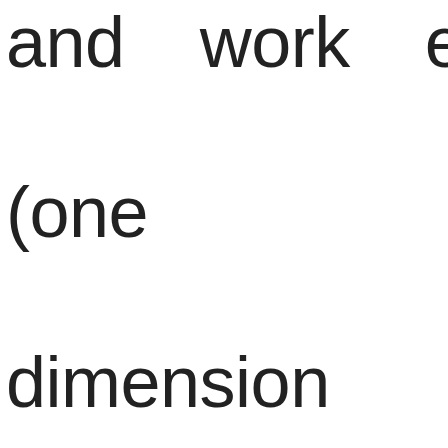and work ethics (one more dimension than that of the WHO). The